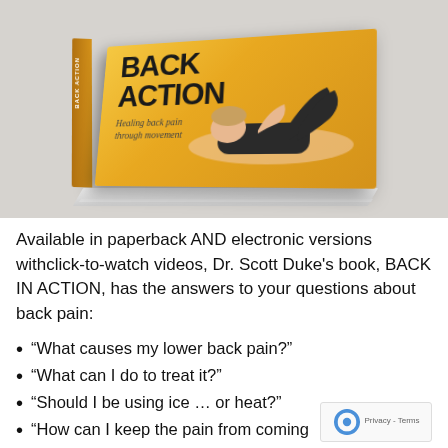[Figure (photo): A 3D rendered book titled 'BACK ACTION' with subtitle 'Healing back pain through movement' showing a woman lying on her back in a stretching pose on an orange/yellow cover. The book is shown at an angle on a gray background.]
Available in paperback AND electronic versions withclick-to-watch videos, Dr. Scott Duke's book, BACK IN ACTION, has the answers to your questions about back pain:
“What causes my lower back pain?”
“What can I do to treat it?”
“Should I be using ice … or heat?”
“How can I keep the pain from coming back?”